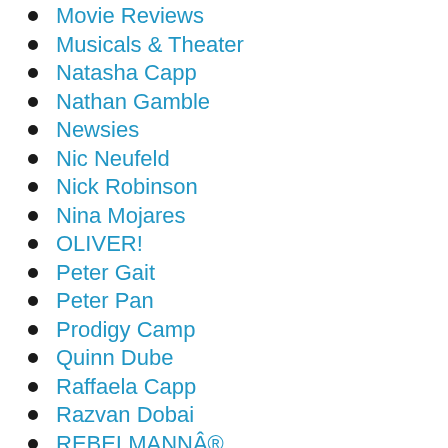Movie Reviews
Musicals & Theater
Natasha Capp
Nathan Gamble
Newsies
Nic Neufeld
Nick Robinson
Nina Mojares
OLIVER!
Peter Gait
Peter Pan
Prodigy Camp
Quinn Dube
Raffaela Capp
Razvan Dobai
REBELMANNÂ®